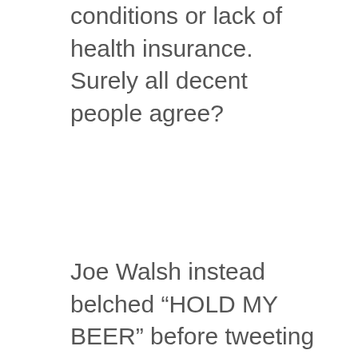conditions or lack of health insurance. Surely all decent people agree?
Joe Walsh instead belched “HOLD MY BEER” before tweeting th…